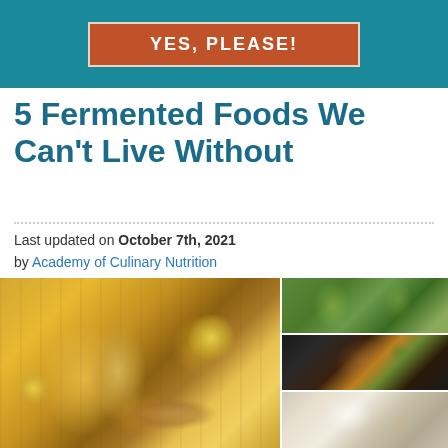YES, PLEASE!
5 Fermented Foods We Can’t Live Without
Last updated on October 7th, 2021
by Academy of Culinary Nutrition
[Figure (photo): Large photo of kombucha in a mason jar with lemons and ginger root on a wooden surface]
[Figure (photo): Photo of green pickles/cucumbers in glass jars]
[Figure (photo): Photo of a dark bowl with roasted vegetables and greens]
[Figure (photo): Photo of yogurt in a white bowl with nuts/granola on a dark surface]